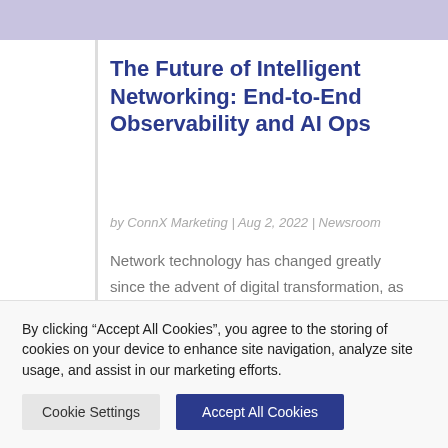The Future of Intelligent Networking: End-to-End Observability and AI Ops
by ConnX Marketing | Aug 2, 2022 | Newsroom
Network technology has changed greatly since the advent of digital transformation, as businesses stray away from traditional networks and
By clicking “Accept All Cookies”, you agree to the storing of cookies on your device to enhance site navigation, analyze site usage, and assist in our marketing efforts.